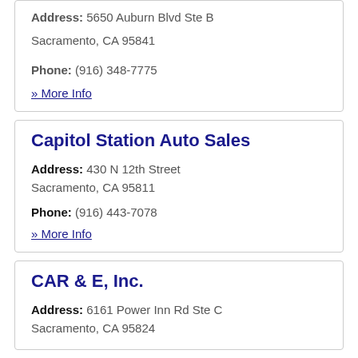Address: 5650 Auburn Blvd Ste B Sacramento, CA 95841
Phone: (916) 348-7775
» More Info
Capitol Station Auto Sales
Address: 430 N 12th Street Sacramento, CA 95811
Phone: (916) 443-7078
» More Info
CAR & E, Inc.
Address: 6161 Power Inn Rd Ste C Sacramento, CA 95824